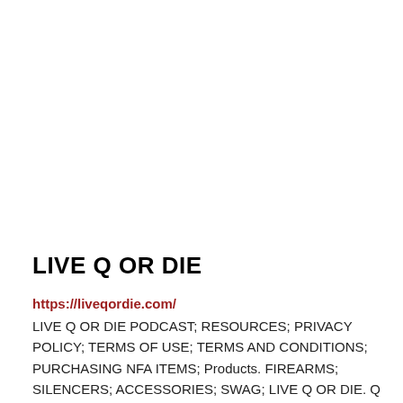LIVE Q OR DIE
https://liveqordie.com/
LIVE Q OR DIE PODCAST; RESOURCES; PRIVACY POLICY; TERMS OF USE; TERMS AND CONDITIONS; PURCHASING NFA ITEMS; Products. FIREARMS; SILENCERS; ACCESSORIES; SWAG; LIVE Q OR DIE. Q LLC 4 Cutts St. Unit 3 Portsmouth, NH 03801 United States of America (603) 294-0047. Subscribe